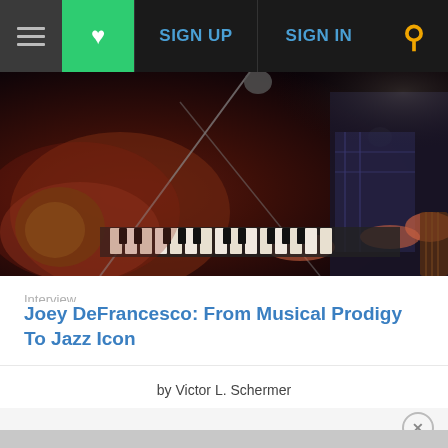☰  ♥  SIGN UP  SIGN IN  🔍
[Figure (photo): Jazz musician playing organ on stage in dark red/purple lighting, with microphone stands visible]
Interview
Joey DeFrancesco: From Musical Prodigy To Jazz Icon
by Victor L. Schermer